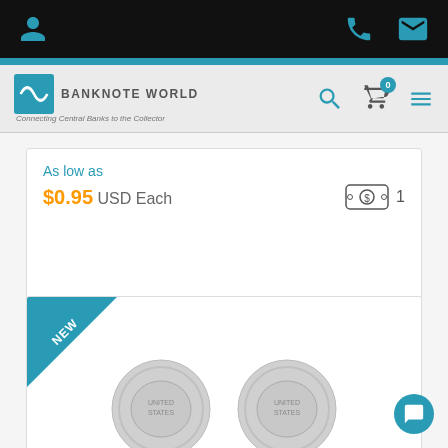Banknote World - Connecting Central Banks to the Collector
As low as
$0.95 USD Each
Wishlist
[Figure (screenshot): NEW badge corner on product card with two silver coins partially visible at the bottom]